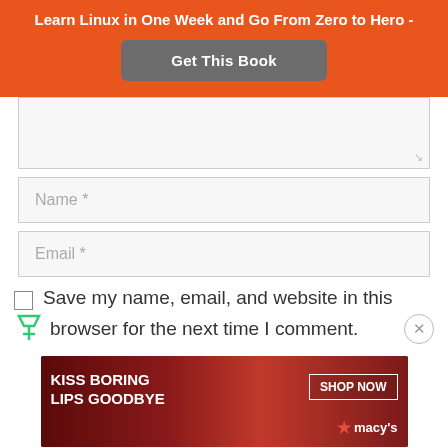Learn Linux in One Week and Go From Zero to Hero -
[Figure (screenshot): Get This Book button in dark gray on orange background]
[Figure (screenshot): Text area input box]
[Figure (screenshot): Name * input field]
[Figure (screenshot): Email * input field]
Save my name, email, and website in this browser for the next time I comment.
[Figure (advertisement): Macy's lipstick advertisement: KISS BORING LIPS GOODBYE with SHOP NOW button and macy's logo, showing woman with red lips]